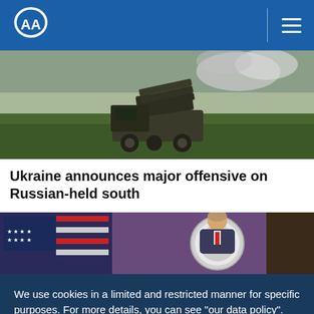AA (Anadolu Agency) — navigation header
[Figure (photo): A military rocket launcher vehicle (MLRS) on a green field, with smoke in the background — war/conflict imagery]
Ukraine announces major offensive on Russian-held south
[Figure (photo): A man in a suit speaking at a podium with an American flag and circular seal in the background — appears to be a press briefing]
We use cookies in a limited and restricted manner for specific purposes. For more details, you can see "our data policy".